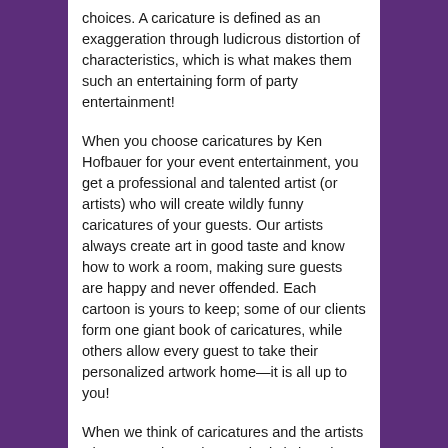choices. A caricature is defined as an exaggeration through ludicrous distortion of characteristics, which is what makes them such an entertaining form of party entertainment!
When you choose caricatures by Ken Hofbauer for your event entertainment, you get a professional and talented artist (or artists) who will create wildly funny caricatures of your guests. Our artists always create art in good taste and know how to work a room, making sure guests are happy and never offended. Each cartoon is yours to keep; some of our clients form one giant book of caricatures, while others allow every guest to take their personalized artwork home—it is all up to you!
When we think of caricatures and the artists who create them, the aesthetic is largely uniform, but when you work with a professional artist (and not someone who dabbles in caricature at the mall) you get the sense of personal artist style that is expressed through each piece. Many of our artists publish their work in magazines and papers and have designed recognizable logos